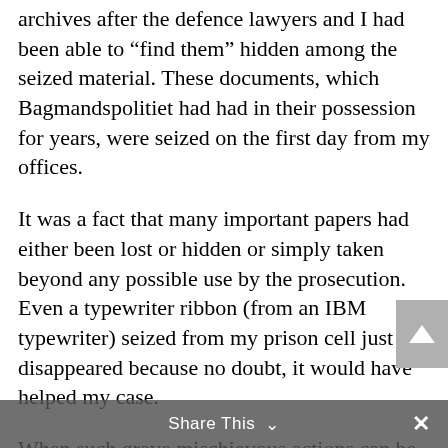Some documents first came into the court's archives after the defence lawyers and I had been able to "find them" hidden among the seized material. These documents, which Bagmandspolitiet had had in their possession for years, were seized on the first day from my offices.
It was a fact that many important papers had either been lost or hidden or simply taken beyond any possible use by the prosecution. Even a typewriter ribbon (from an IBM typewriter) seized from my prison cell just disappeared because no doubt, it would have helped my case.
When such grave mischievous actions can be exercised by the Special Prosecution without the interference of the court, it is hardly difficult to imagine the consequences.
Share This ∨   ×